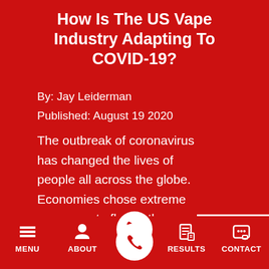How Is The US Vape Industry Adapting To COVID-19?
By: Jay Leiderman
Published: August 19 2020
The outbreak of coronavirus has changed the lives of people all across the globe. Economies chose extreme measures to flatten the curve and control the mass spread of…
read full article →
MENU   ABOUT   [phone]   RESULTS   CONTACT